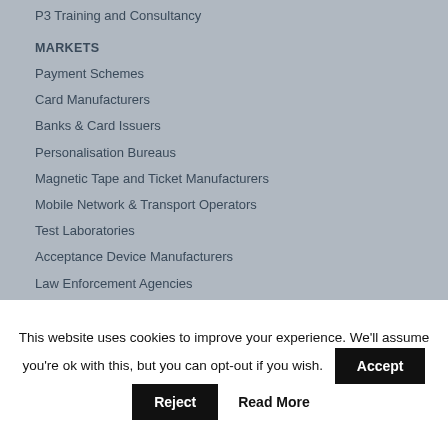P3 Training and Consultancy
MARKETS
Payment Schemes
Card Manufacturers
Banks & Card Issuers
Personalisation Bureaus
Magnetic Tape and Ticket Manufacturers
Mobile Network & Transport Operators
Test Laboratories
Acceptance Device Manufacturers
Law Enforcement Agencies
ABOUT US
SUPPORT
This website uses cookies to improve your experience. We'll assume you're ok with this, but you can opt-out if you wish.
Accept
Reject
Read More